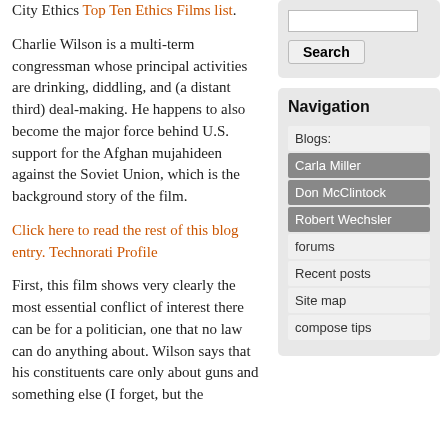City Ethics Top Ten Ethics Films list.
Charlie Wilson is a multi-term congressman whose principal activities are drinking, diddling, and (a distant third) deal-making. He happens to also become the major force behind U.S. support for the Afghan mujahideen against the Soviet Union, which is the background story of the film.
Click here to read the rest of this blog entry. Technorati Profile
First, this film shows very clearly the most essential conflict of interest there can be for a politician, one that no law can do anything about. Wilson says that his constituents care only about guns and something else (I forget, but the
Search
Navigation
Blogs:
Carla Miller
Don McClintock
Robert Wechsler
forums
Recent posts
Site map
compose tips